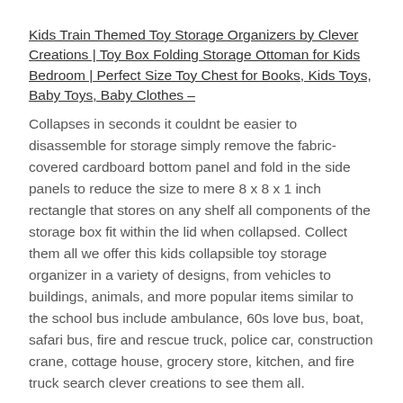Kids Train Themed Toy Storage Organizers by Clever Creations | Toy Box Folding Storage Ottoman for Kids Bedroom | Perfect Size Toy Chest for Books, Kids Toys, Baby Toys, Baby Clothes –
Collapses in seconds it couldnt be easier to disassemble for storage simply remove the fabric-covered cardboard bottom panel and fold in the side panels to reduce the size to mere 8 x 8 x 1 inch rectangle that stores on any shelf all components of the storage box fit within the lid when collapsed. Collect them all we offer this kids collapsible toy storage organizer in a variety of designs, from vehicles to buildings, animals, and more popular items similar to the school bus include ambulance, 60s love bus, boat, safari bus, fire and rescue truck, police car, construction crane, cottage house, grocery store, kitchen, and fire truck search clever creations to see them all.